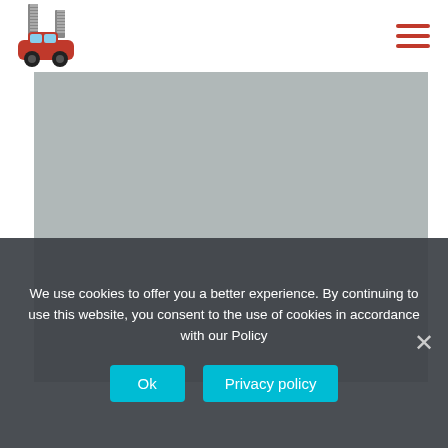[Figure (logo): Website logo: a red cartoon car with stacks of items on top, small illustration]
[Figure (other): Hamburger menu icon: three horizontal red lines]
[Figure (photo): Large gray placeholder image area (hero image section)]
We use cookies to offer you a better experience. By continuing to use this website, you consent to the use of cookies in accordance with our Policy
Ok
Privacy policy